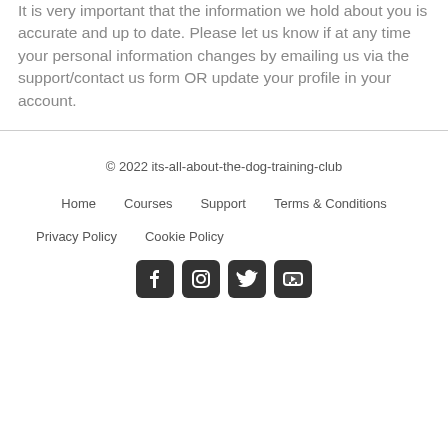It is very important that the information we hold about you is accurate and up to date. Please let us know if at any time your personal information changes by emailing us via the support/contact us form OR update your profile in your account.
© 2022 its-all-about-the-dog-training-club
Home   Courses   Support   Terms & Conditions
Privacy Policy   Cookie Policy
[Figure (other): Social media icons: Facebook, Instagram, Twitter, YouTube]